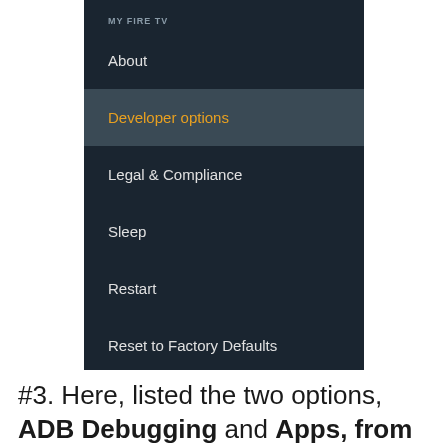[Figure (screenshot): Amazon Fire TV settings screen showing 'MY FIRE TV' menu with options: About, Developer options (highlighted/selected in orange), Legal & Compliance, Sleep, Restart, Reset to Factory Defaults. Dark background UI.]
#3. Here, listed the two options, ADB Debugging and Apps, from unknown